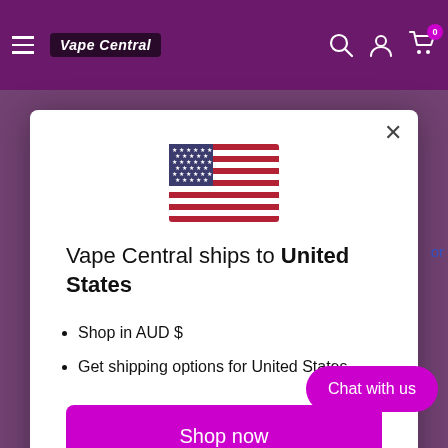[Figure (screenshot): Vape Central e-commerce website header/navbar with hamburger menu, logo, search, account, and cart icons on a dark purple background]
[Figure (illustration): United States flag SVG illustration centered in the modal dialog]
Vape Central ships to United States
Shop in AUD $
Get shipping options for United States
Shop now
Change shipping country
Chat with us
Free Express delivery on orders over $100